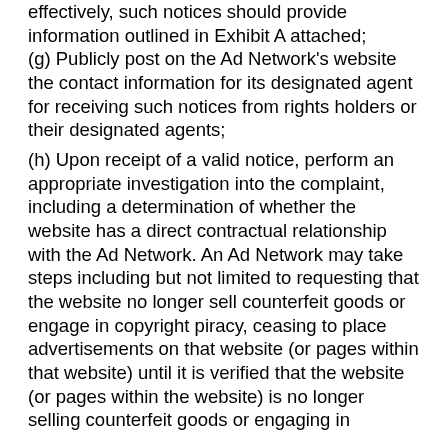effectively, such notices should provide information outlined in Exhibit A attached; (g) Publicly post on the Ad Network's website the contact information for its designated agent for receiving such notices from rights holders or their designated agents; (h) Upon receipt of a valid notice, perform an appropriate investigation into the complaint, including a determination of whether the website has a direct contractual relationship with the Ad Network. An Ad Network may take steps including but not limited to requesting that the website no longer sell counterfeit goods or engage in copyright piracy, ceasing to place advertisements on that website (or pages within that website) until it is verified that the website (or pages within the website) is no longer selling counterfeit goods or engaging in